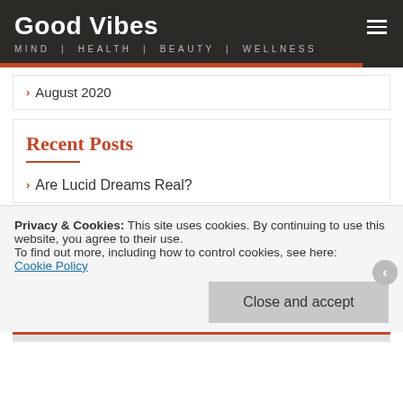Good Vibes
MIND | HEALTH | BEAUTY | WELLNESS
August 2020
Recent Posts
Are Lucid Dreams Real?
Privacy & Cookies: This site uses cookies. By continuing to use this website, you agree to their use.
To find out more, including how to control cookies, see here:
Cookie Policy
Close and accept